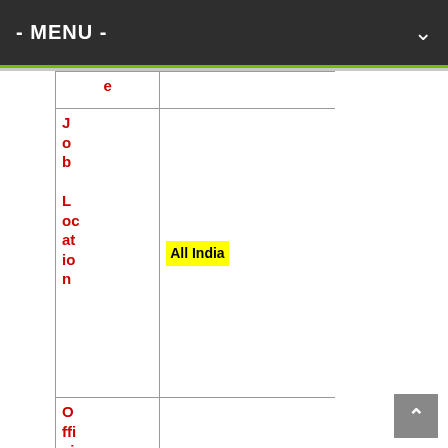- MENU -
| Label | Value |
| --- | --- |
| e |  |
| Job Location | All India |
| Official Website | www.nia.gov.in |
| Important Date | Last Date for Apply – 03 March |